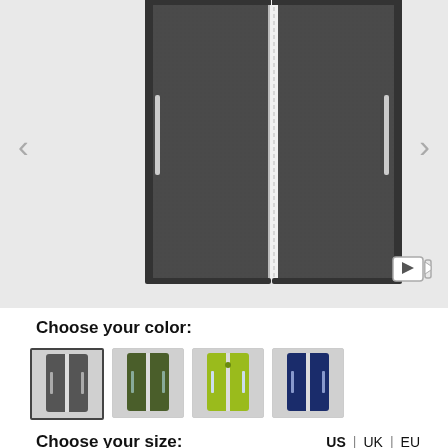[Figure (photo): Close-up product photo of a dark grey zip-up vest/gilet showing the front with a white zipper in the center and side zip pockets, displayed against a light grey background. Left and right navigation arrows visible on sides. A video play icon visible at bottom right.]
Choose your color:
[Figure (illustration): Four color variant thumbnail images of the same vest: 1) dark grey, 2) dark olive/green, 3) bright yellow-green/lime, 4) navy blue]
Choose your size:
US | UK | EU